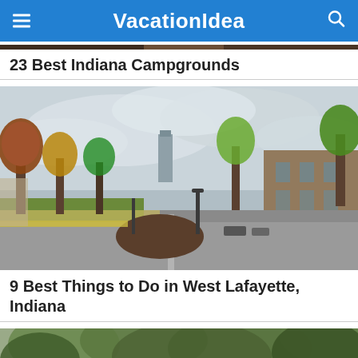VacationIdea
[Figure (photo): Partial view of a campground or outdoor scene at the very top of the page]
23 Best Indiana Campgrounds
[Figure (photo): Street view of West Lafayette, Indiana campus area with autumn trees, a road, lamp posts, and brick buildings under a cloudy sky]
9 Best Things to Do in West Lafayette, Indiana
[Figure (photo): Partial view of a nature/park scene with green and autumn foliage, partially visible at the bottom of the page]